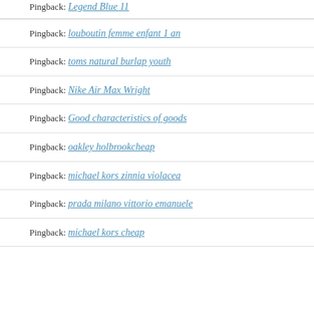Pingback: Legend Blue 11
Pingback: louboutin femme enfant 1 an
Pingback: toms natural burlap youth
Pingback: Nike Air Max Wright
Pingback: Good characteristics of goods
Pingback: oakley holbrookcheap
Pingback: michael kors zinnia violacea
Pingback: prada milano vittorio emanuele
Pingback: michael kors cheap